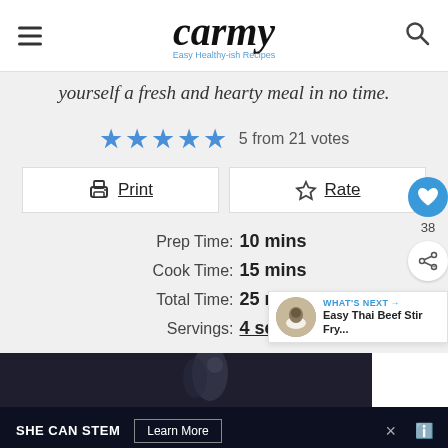carmy — Easy Healthy-ish Recipes
yourself a fresh and hearty meal in no time.
5 from 21 votes
Print
Rate
Prep Time: 10 mins
Cook Time: 15 mins
Total Time: 25 mins
Servings: 4 servings
WHAT'S NEXT → Easy Thai Beef Stir Fry...
SHE CAN STEM  Learn More